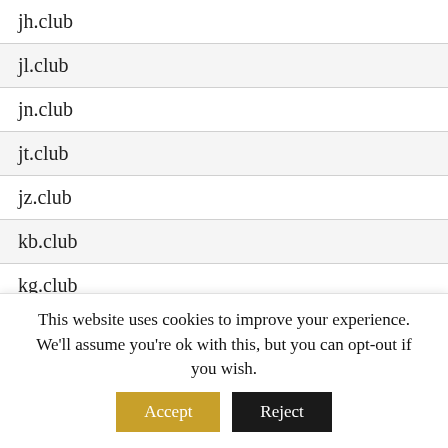| jh.club |
| jl.club |
| jn.club |
| jt.club |
| jz.club |
| kb.club |
| kg.club |
| kh.club |
| ki.club |
| kl.club |
| km.club |
This website uses cookies to improve your experience. We'll assume you're ok with this, but you can opt-out if you wish.
Accept | Reject